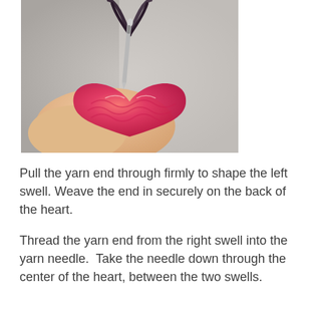[Figure (photo): Close-up photo of a pink/red crocheted heart shape being worked with a yarn needle and dark yarn thread. A hand holds the heart while the needle is inserted through the center of the piece.]
Pull the yarn end through firmly to shape the left swell. Weave the end in securely on the back of the heart.
Thread the yarn end from the right swell into the yarn needle.  Take the needle down through the center of the heart, between the two swells.